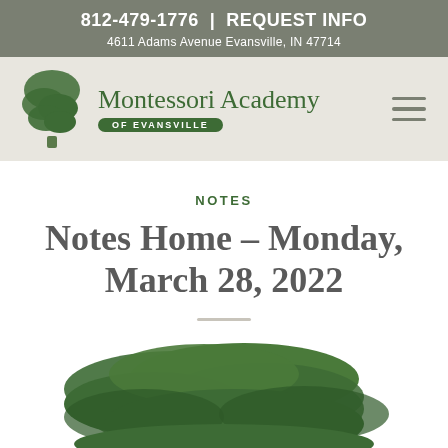812-479-1776 | REQUEST INFO
4611 Adams Avenue Evansville, IN 47714
[Figure (logo): Montessori Academy of Evansville logo with green tree icon, name text, and OF EVANSVILLE badge. Hamburger menu icon on right.]
NOTES
Notes Home – Monday, March 28, 2022
[Figure (illustration): Partial green tree illustration (bottom of page, cropped)]